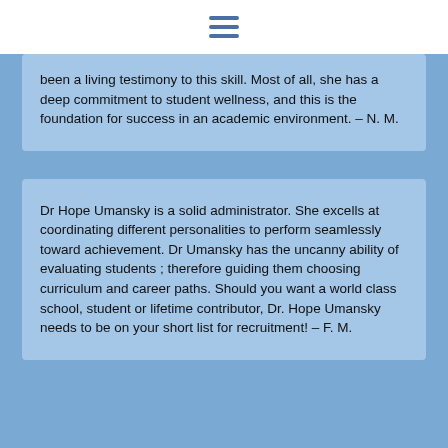been a living testimony to this skill. Most of all, she has a deep commitment to student wellness, and this is the foundation for success in an academic environment. – N. M.
Dr Hope Umansky is a solid administrator. She excells at coordinating different personalities to perform seamlessly toward achievement. Dr Umansky has the uncanny ability of evaluating students ; therefore guiding them choosing curriculum and career paths. Should you want a world class school, student or lifetime contributor, Dr. Hope Umansky needs to be on your short list for recruitment! – F. M.